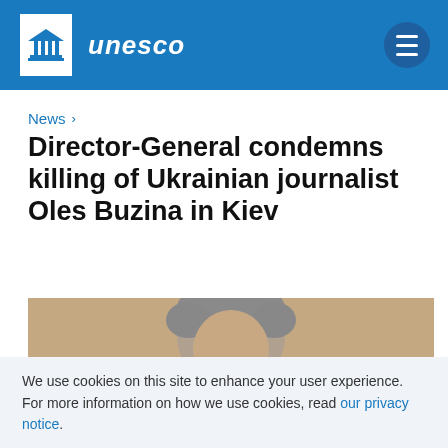UNESCO
News >
Director-General condemns killing of Ukrainian journalist Oles Buzina in Kiev
[Figure (photo): Close-up photograph of a person with grey hair, cropped at the top of the page article]
We use cookies on this site to enhance your user experience. For more information on how we use cookies, read our privacy notice.